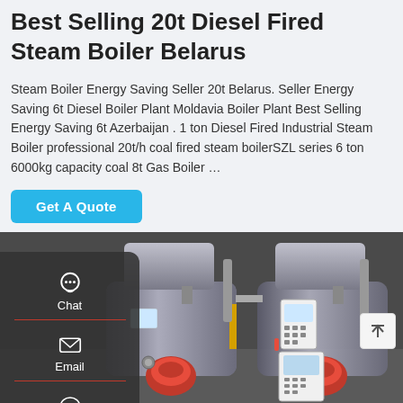Best Selling 20t Diesel Fired Steam Boiler Belarus
Steam Boiler Energy Saving Seller 20t Belarus. Seller Energy Saving 6t Diesel Boiler Plant Moldavia Boiler Plant Best Selling Energy Saving 6t Azerbaijan . 1 ton Diesel Fired Industrial Steam Boiler professional 20t/h coal fired steam boilerSZL series 6 ton 6000kg capacity coal 8t Gas Boiler …
[Figure (other): Get A Quote button (cyan/teal colored button)]
[Figure (photo): Industrial diesel fired steam boilers installed in a facility — two large cylindrical boilers with red burners, control panel, pipes and valves visible]
[Figure (other): Sidebar navigation with Chat, Email, Contact, Top icons on dark semi-transparent background]